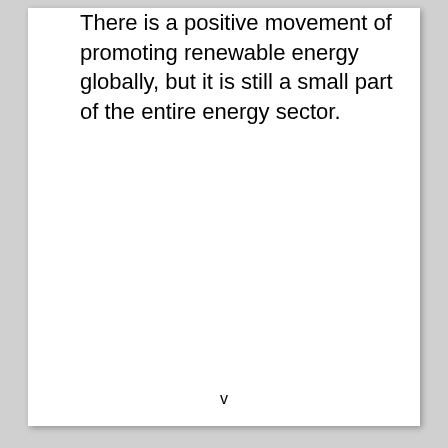There is a positive movement of promoting renewable energy globally, but it is still a small part of the entire energy sector.
v